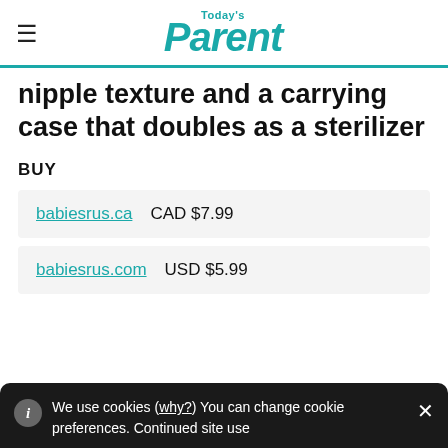Today's Parent
nipple texture and a carrying case that doubles as a sterilizer
BUY
babiesrus.ca  CAD $7.99
babiesrus.com  USD $5.99
We use cookies (why?) You can change cookie preferences. Continued site use